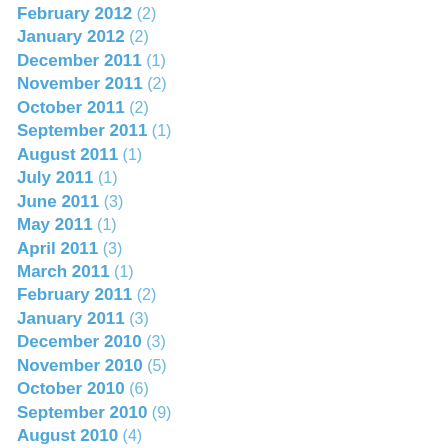February 2012 (2)
January 2012 (2)
December 2011 (1)
November 2011 (2)
October 2011 (2)
September 2011 (1)
August 2011 (1)
July 2011 (1)
June 2011 (3)
May 2011 (1)
April 2011 (3)
March 2011 (1)
February 2011 (2)
January 2011 (3)
December 2010 (3)
November 2010 (5)
October 2010 (6)
September 2010 (9)
August 2010 (4)
July 2010 (3)